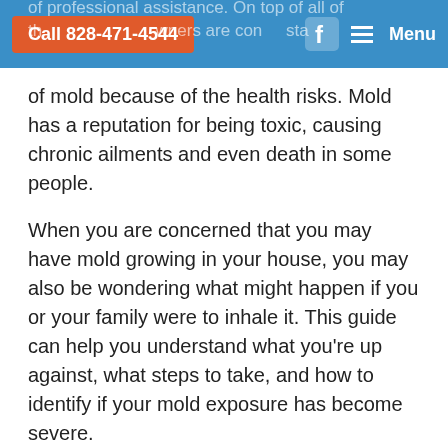Call 828-471-4544 | Facebook | Menu
of mold because of the health risks. Mold has a reputation for being toxic, causing chronic ailments and even death in some people.
When you are concerned that you may have mold growing in your house, you may also be wondering what might happen if you or your family were to inhale it. This guide can help you understand what you're up against, what steps to take, and how to identify if your mold exposure has become severe.
What is Mold?
Mold is a living entity, just like bacteria and